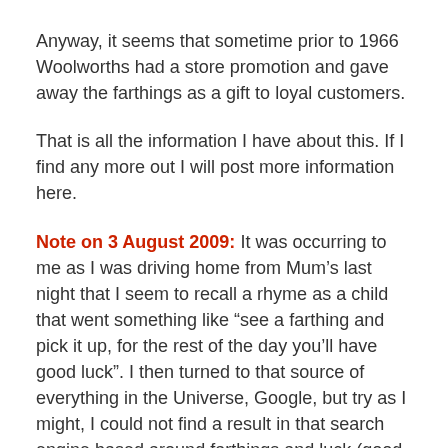Anyway, it seems that sometime prior to 1966 Woolworths had a store promotion and gave away the farthings as a gift to loyal customers.
That is all the information I have about this. If I find any more out I will post more information here.
Note on 3 August 2009: It was occurring to me as I was driving home from Mum's last night that I seem to recall a rhyme as a child that went something like “see a farthing and pick it up, for the rest of the day you’ll have good luck”. I then turned to that source of everything in the Universe, Google, but try as I might, I could not find a result in that search engine based around farthings and luck (good or otherwise).
I just can't help thinking though that there must have been a